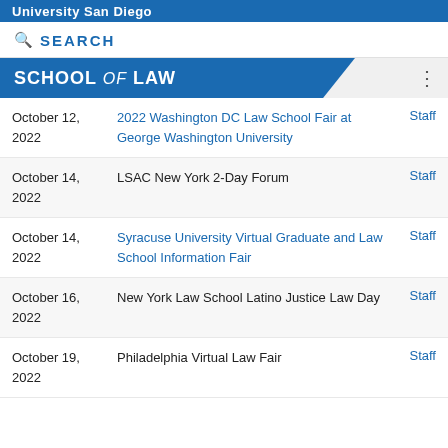University San Diego
SEARCH
SCHOOL of LAW
| Date | Event | Contact |
| --- | --- | --- |
| October 12, 2022 | 2022 Washington DC Law School Fair at George Washington University | Staff |
| October 14, 2022 | LSAC New York 2-Day Forum | Staff |
| October 14, 2022 | Syracuse University Virtual Graduate and Law School Information Fair | Staff |
| October 16, 2022 | New York Law School Latino Justice Law Day | Staff |
| October 19, 2022 | Philadelphia Virtual Law Fair | Staff |